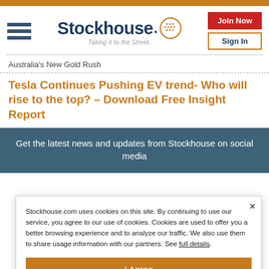[Figure (logo): Stockhouse logo with hamburger menu, wordmark, face icon, tagline 'Taking it to the Street.', Join Now button, Sign In button]
Australia's New Gold Rush
Tesla Continues Pushing EV trend- Who will rise to the top? – Download Free Insight Report
Get the latest news and updates from Stockhouse on social media
Stockhouse.com uses cookies on this site. By continuing to use our service, you agree to our use of cookies. Cookies are used to offer you a better browsing experience and to analyze our traffic. We also use them to share usage information with our partners. See full details.
I Agree